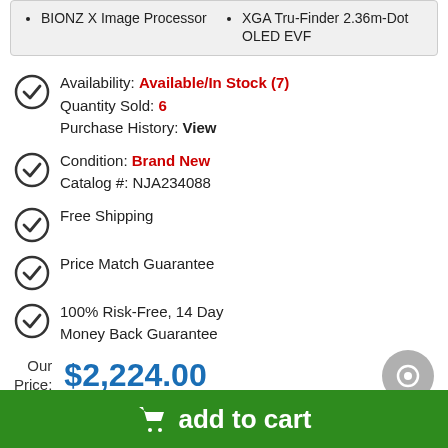BIONZ X Image Processor
XGA Tru-Finder 2.36m-Dot OLED EVF
Availability: Available/In Stock (7)
Quantity Sold: 6
Purchase History: View
Condition: Brand New
Catalog #: NJA234088
Free Shipping
Price Match Guarantee
100% Risk-Free, 14 Day Money Back Guarantee
Our Price: $2,224.00
add to cart